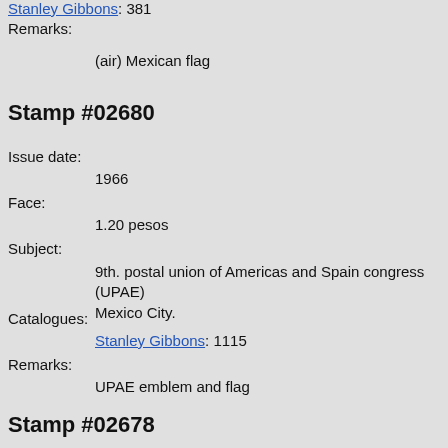Stanley Gibbons: 381
Remarks:
(air) Mexican flag
Stamp #02680
Issue date:
1966
Face:
1.20 pesos
Subject:
9th. postal union of Americas and Spain congress (UPAE) Mexico City.
Catalogues:
Stanley Gibbons: 1115
Remarks:
UPAE emblem and flag
Stamp #02678
Issue date:
1966
Face:
40 cents
Subject: